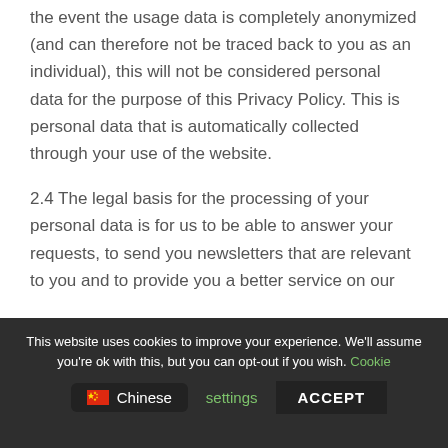the event the usage data is completely anonymized (and can therefore not be traced back to you as an individual), this will not be considered personal data for the purpose of this Privacy Policy. This is personal data that is automatically collected through your use of the website.
2.4 The legal basis for the processing of your personal data is for us to be able to answer your requests, to send you newsletters that are relevant to you and to provide you a better service on our
This website uses cookies to improve your experience. We'll assume you're ok with this, but you can opt-out if you wish. Cookie settings ACCEPT